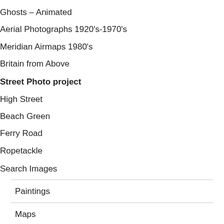Ghosts – Animated
Aerial Photographs 1920's-1970's
Meridian Airmaps 1980's
Britain from Above
Street Photo project
High Street
Beach Green
Ferry Road
Ropetackle
Search Images
Paintings
Maps
17th-20th Century
OS Maps 1898-1937